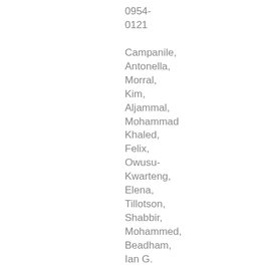0954-0121

Campanile, Antonella, Morral, Kim, Aljammal, Mohammad Khaled, Felix, Owusu-Kwarteng, Elena, Tillotson, Shabbir, Mohammed, Beadham, Ian G. and Morral-